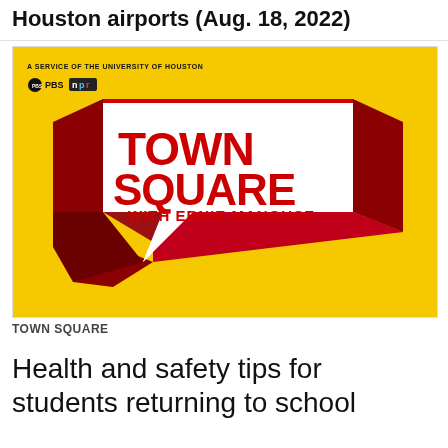Houston airports (Aug. 18, 2022)
[Figure (logo): Town Square with Ernie Manouse logo on yellow background — red 3D speech bubble with white face showing bold red text 'TOWN SQUARE WITH ERNIE MANOUSE'. Top left reads 'A SERVICE OF THE UNIVERSITY OF HOUSTON' with PBS and NPR logos.]
TOWN SQUARE
Health and safety tips for students returning to school